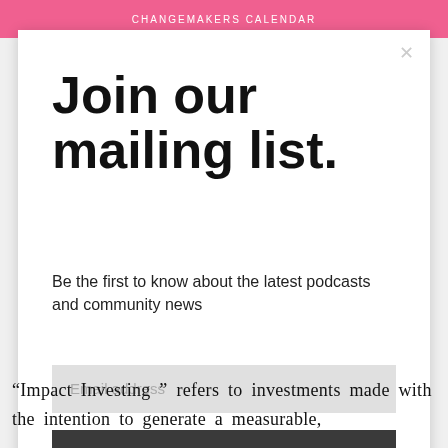CHANGEMAKERS CALENDAR
Show Notes
Join our mailing list.
Be the first to know about the latest podcasts and community news
Email address
Subscribe
“Impact Investing ” refers to investments made with the intention to generate a measurable,